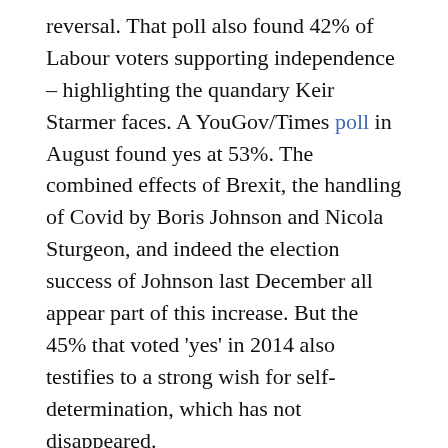reversal. That poll also found 42% of Labour voters supporting independence – highlighting the quandary Keir Starmer faces. A YouGov/Times poll in August found yes at 53%. The combined effects of Brexit, the handling of Covid by Boris Johnson and Nicola Sturgeon, and indeed the election success of Johnson last December all appear part of this increase. But the 45% that voted 'yes' in 2014 also testifies to a strong wish for self-determination, which has not disappeared.
The demographics of support for independence are not new but also striking, with support growing amongst the middle-aged. YouGov found 79% of 18-24 year olds support independence, 58% of 25-49 year olds, and 53% of 50-64 year olds – leaving only the 65 plus age group clearly against, with only 35% of them supporting an independent Scotland. Opposition parties that are pro-union will not obviously gain support in all these